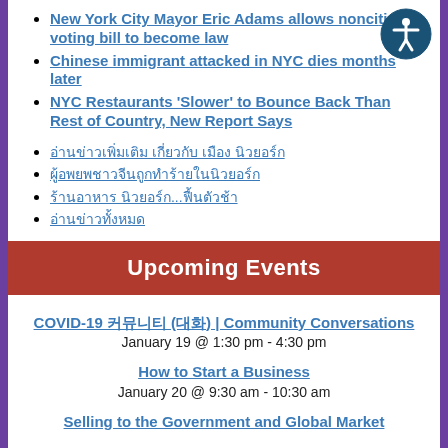New York City Mayor Eric Adams allows noncitizen voting bill to become law
Chinese immigrant attacked in NYC dies months later
NYC Restaurants 'Slower' to Bounce Back Than Rest of Country, New Report Says
อ่านข่าวเพิ่มเติม เกี่ยวกับ เมือง นิวยอร์ก
ผู้อพยพชาวจีนถูกทำร้าย
ร้านอาหาร นิวยอร์ก...ฟื้นตัวช้า
อ่านข่าวทั้งหมด
Upcoming Events
COVID-19 커뮤니티 (대화) | Community Conversations
January 19 @ 1:30 pm - 4:30 pm
How to Start a Business
January 20 @ 9:30 am - 10:30 am
Selling to the Government and Global Market